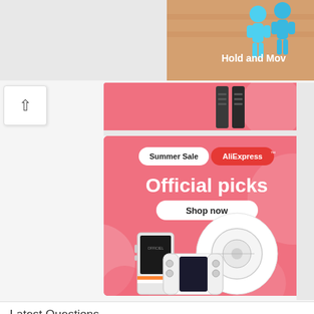[Figure (screenshot): Top banner with a game advertisement showing 'Hold and Move' text with blue avatar figures on a sandy/beach background]
[Figure (screenshot): Partially visible pink AliExpress advertisement banner with product images (robot vacuum, phone, gaming accessories)]
[Figure (illustration): AliExpress Summer Sale advertisement banner. Pink background with 'Summer Sale AliExpress' badge row, large 'Official picks' text, 'Shop now' button, and product images including a robot vacuum cleaner, a smartphone, and a Nintendo Switch-style gaming controller]
Latest Questions